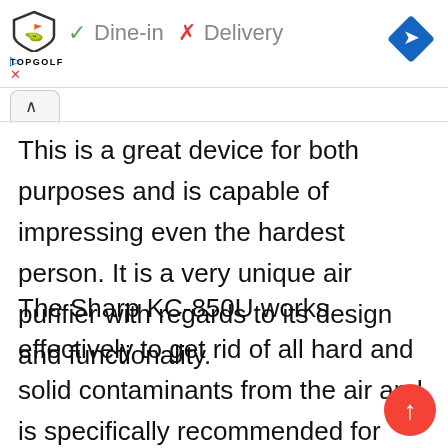Topgolf  ✓ Dine-in  ✗ Delivery
This is a great device for both purposes and is capable of impressing even the hardest person. It is a very unique air purifier with regards to its design and functionality.
The Sharp KC-850U works effectively to get rid of all hard and solid contaminants from the air and is specifically recommended for patients with sinus.